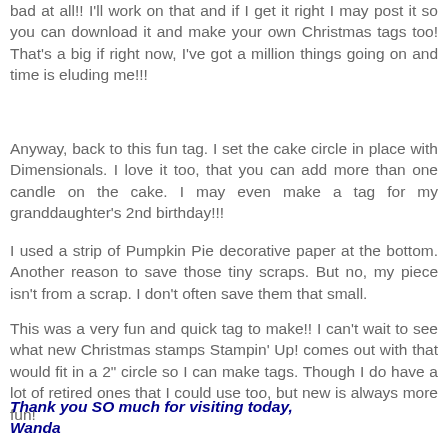bad at all!!  I'll work on that and if I get it right I may post it so you can download it and make your own Christmas tags too!  That's a big if right now, I've got a million things going on and time is eluding me!!!
Anyway, back to this fun tag.  I set the cake circle in place with Dimensionals.  I love it too, that you can add more than one candle on the cake.  I may even make a tag for my granddaughter's 2nd birthday!!!
I used a strip of Pumpkin Pie decorative paper at the bottom.  Another reason to save those tiny scraps.  But no, my piece isn't from a scrap.  I don't often save them that small.
This was a very fun and quick tag to make!!  I can't wait to see what new Christmas stamps Stampin' Up! comes out with that would fit in a 2" circle so I can make tags.  Though I do have a lot of retired ones that I could use too, but new is always more fun!
Thank you SO much for visiting today,
Wanda